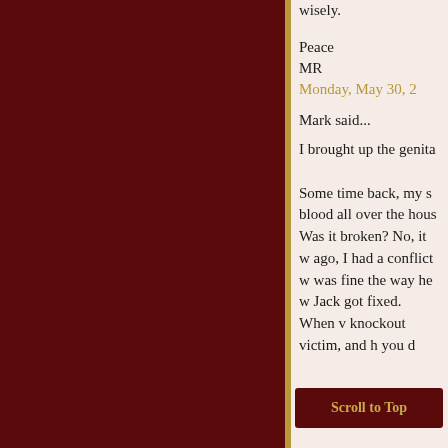wisely.
Peace
MR
Monday, May 30, 2
Mark said...
I brought up the genita
Some time back, my s blood all over the hous Was it broken? No, it w ago, I had a conflict w was fine the way he w Jack got fixed. When v knockout victim, and h you d
Scroll to Top